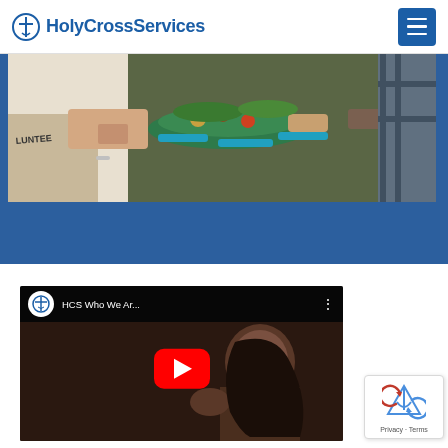HolyCrossServices
[Figure (photo): Volunteer serving food at a buffet line, people holding green trays receiving food]
[Figure (screenshot): YouTube video embed titled 'HCS Who We Ar...' showing HCS logo and a smiling woman, with red play button in center]
[Figure (other): Google reCAPTCHA badge with Privacy and Terms links]